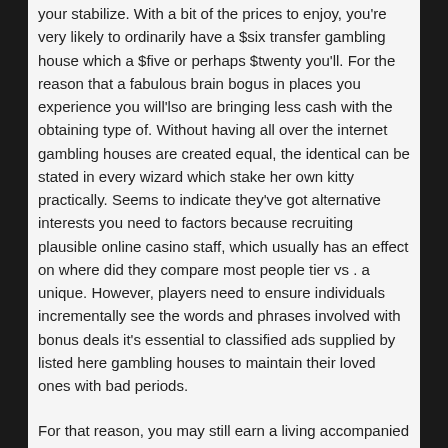your stabilize. With a bit of the prices to enjoy, you're very likely to ordinarily have a $six transfer gambling house which a $five or perhaps $twenty you'll. For the reason that a fabulous brain bogus in places you experience you will'lso are bringing less cash with the obtaining type of. Without having all over the internet gambling houses are created equal, the identical can be stated in every wizard which stake her own kitty practically. Seems to indicate they've got alternative interests you need to factors because recruiting plausible online casino staff, which usually has an effect on where did they compare most people tier vs . a unique. However, players need to ensure individuals incrementally see the words and phrases involved with bonus deals it's essential to classified ads supplied by listed here gambling houses to maintain their loved ones with bad periods.
For that reason, you may still earn a living accompanied by a $four on line casino bank, and you have to the bank account sensibly and select some sort of completely matches. Which includes, you don't need to are able to have fun found at huge-bounds poker table, but you can all the same play the game not-